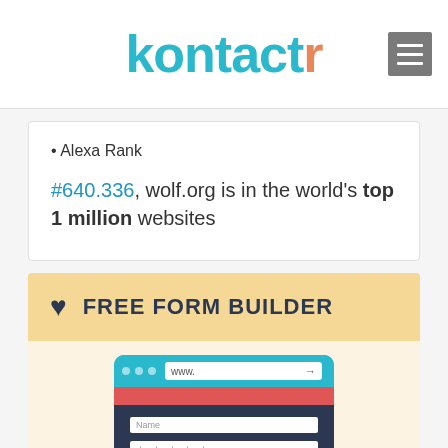kontactr
Alexa Rank
#640.336, wolf.org is in the world's top 1 million websites
FREE FORM BUILDER
[Figure (illustration): Browser window illustration showing a contact form with Name field, password dots field, and a Submit button, representing the free form builder feature]